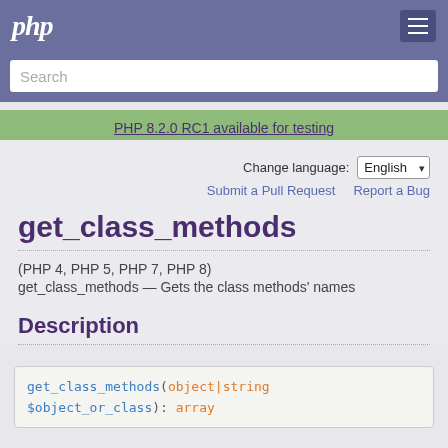php
Search
PHP 8.2.0 RC1 available for testing
Change language: English
Submit a Pull Request   Report a Bug
get_class_methods
(PHP 4, PHP 5, PHP 7, PHP 8)
get_class_methods — Gets the class methods' names
Description
get_class_methods(object|string $object_or_class): array